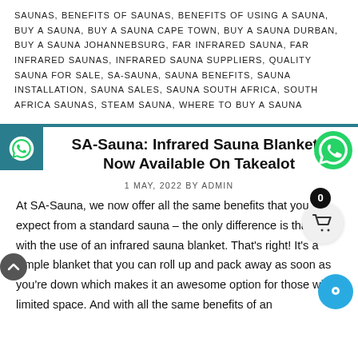SAUNAS, BENEFITS OF SAUNAS, BENEFITS OF USING A SAUNA, BUY A SAUNA, BUY A SAUNA CAPE TOWN, BUY A SAUNA DURBAN, BUY A SAUNA JOHANNEBSURG, FAR INFRARED SAUNA, FAR INFRARED SAUNAS, INFRARED SAUNA SUPPLIERS, QUALITY SAUNA FOR SALE, SA-SAUNA, SAUNA BENEFITS, SAUNA INSTALLATION, SAUNA SALES, SAUNA SOUTH AFRICA, SOUTH AFRICA SAUNAS, STEAM SAUNA, WHERE TO BUY A SAUNA
SA-Sauna: Infrared Sauna Blankets Now Available On Takealot
1 MAY, 2022 BY ADMIN
At SA-Sauna, we now offer all the same benefits that you expect from a standard sauna – the only difference is that it's with the use of an infrared sauna blanket. That's right! It's a simple blanket that you can roll up and pack away as soon as you're down which makes it an awesome option for those with limited space. And with all the same benefits of an